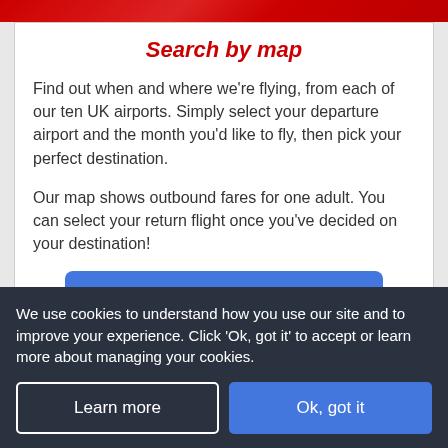Search by map
Find out when and where we're flying, from each of our ten UK airports. Simply select your departure airport and the month you'd like to fly, then pick your perfect destination.
Our map shows outbound fares for one adult. You can select your return flight once you've decided on your destination!
Explore flights by map
We use cookies to understand how you use our site and to improve your experience. Click 'Ok, got it' to accept or learn more about managing your cookies.
Learn more
Ok, got it